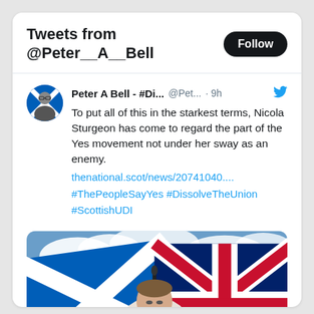Tweets from @Peter__A__Bell
Peter A Bell - #Di... @Pet... · 9h
To put all of this in the starkest terms, Nicola Sturgeon has come to regard the part of the Yes movement not under her sway as an enemy.
thenational.scot/news/20741040....
#ThePeopleSayYes #DissolveTheUnion
#ScottishUDI
[Figure (photo): Photo of a woman (Nicola Sturgeon) standing in front of a Scottish Saltire flag and a Union Jack flag against a cloudy blue sky.]